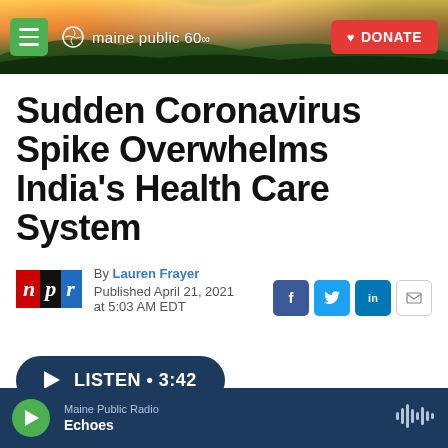[Figure (screenshot): Maine Public 60th anniversary website header with landscape sunset photo background, hamburger menu button, Maine Public logo, and red DONATE button]
Sudden Coronavirus Spike Overwhelms India's Health Care System
By Lauren Frayer
Published April 21, 2021 at 5:03 AM EDT
[Figure (logo): NPR logo with red N, black P, and blue R blocks]
[Figure (infographic): Social share icons: Facebook (f), Twitter (bird), LinkedIn (in), Email (envelope)]
LISTEN • 3:42
Maine Public Radio
Echoes